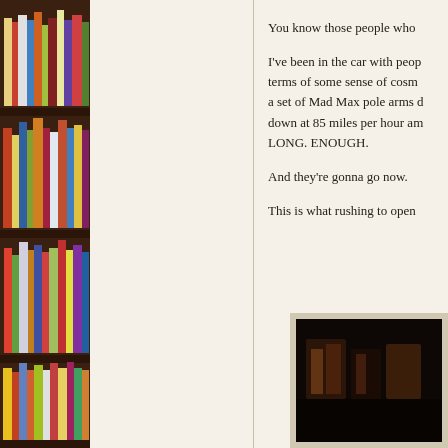[Figure (photo): Photograph of colorful books arranged on dark wooden bookshelves, occupying the left column of the page]
You know those people who
I've been in the car with people who, in terms of some sense of cosm a set of Mad Max pole arms down at 85 miles per hour am LONG. ENOUGH.
And they're gonna go now.
This is what rushing to open
[Figure (photo): Dark photograph, appears to show objects in low light, possibly indoor scene]